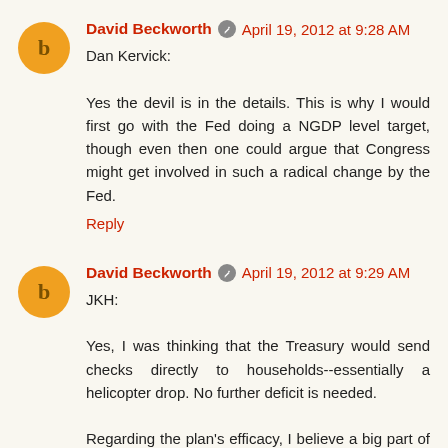David Beckworth   April 19, 2012 at 9:28 AM
Dan Kervick:

Yes the devil is in the details. This is why I would first go with the Fed doing a NGDP level target, though even then one could argue that Congress might get involved in such a radical change by the Fed.
Reply
David Beckworth   April 19, 2012 at 9:29 AM
JKH:

Yes, I was thinking that the Treasury would send checks directly to households--essentially a helicopter drop. No further deficit is needed.

Regarding the plan's efficacy, I believe a big part of its success would come from the expectations it would create